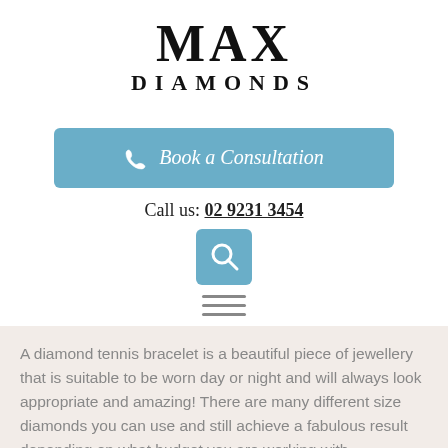MAX DIAMONDS
[Figure (other): Blue rounded button with phone icon and text 'Book a Consultation']
Call us: 02 9231 3454
[Figure (other): Blue square search icon with magnifying glass]
[Figure (other): Hamburger menu icon with three horizontal lines]
A diamond tennis bracelet is a beautiful piece of jewellery that is suitable to be worn day or night and will always look appropriate and amazing! There are many different size diamonds you can use and still achieve a fabulous result depending on what budget you are working with.